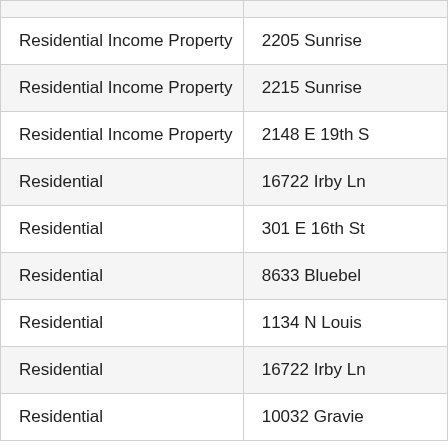| Property Type | Address |
| --- | --- |
| Residential Income Property | 2205 Sunrise |
| Residential Income Property | 2215 Sunrise |
| Residential Income Property | 2148 E 19th S |
| Residential | 16722 Irby Ln |
| Residential | 301 E 16th St |
| Residential | 8633 Bluebel |
| Residential | 1134 N Louis |
| Residential | 16722 Irby Ln |
| Residential | 10032 Gravie |